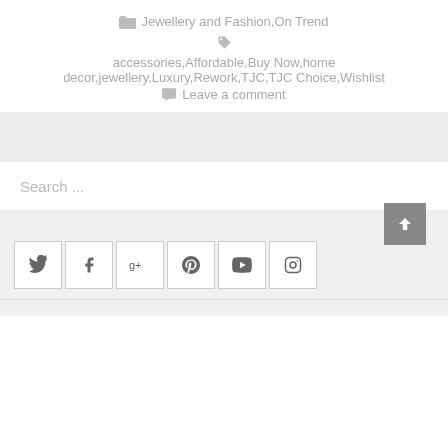Jewellery and Fashion,On Trend
accessories,Affordable,Buy Now,home decor,jewellery,Luxury,Rework,TJC,TJC Choice,Wishlist
Leave a comment
Search ...
[Figure (other): Social media icon links: Twitter, Facebook, Google+, Pinterest, YouTube, Instagram]